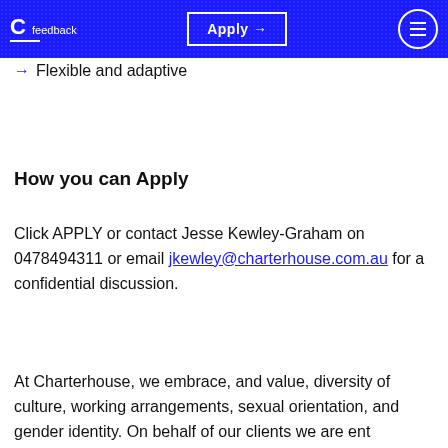C feedback | Apply → | menu
→ Flexible and adaptive
How you can Apply
Click APPLY or contact Jesse Kewley-Graham on 0478494311 or email jkewley@charterhouse.com.au for a confidential discussion.
At Charterhouse, we embrace, and value, diversity of culture, working arrangements, sexual orientation, and gender identity. On behalf of our clients we are ent...